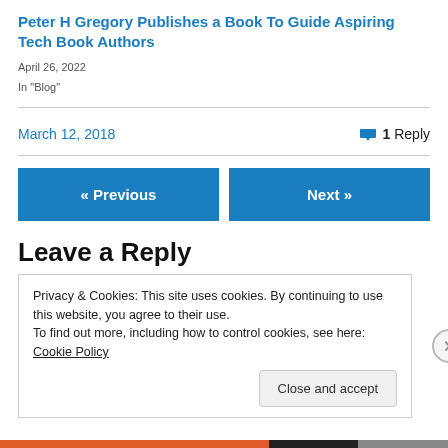Peter H Gregory Publishes a Book To Guide Aspiring Tech Book Authors
April 26, 2022
In "Blog"
March 12, 2018   1 Reply
« Previous
Next »
Leave a Reply
Privacy & Cookies: This site uses cookies. By continuing to use this website, you agree to their use.
To find out more, including how to control cookies, see here: Cookie Policy
Close and accept